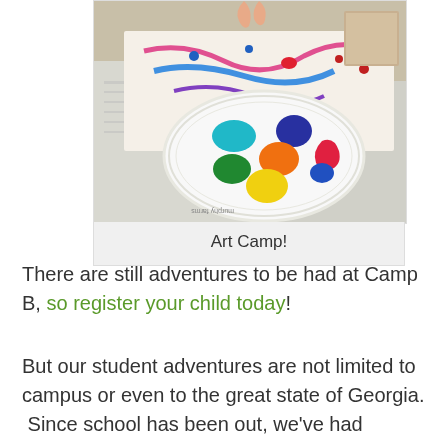[Figure (photo): Photo of an art camp activity showing a white paper plate with colorful paint blobs (teal, dark blue, red/pink, orange, green, yellow) used as a paint palette, placed on newspaper-covered table with colorful painted paper in the background. Children's hands visible at top.]
Art Camp!
There are still adventures to be had at Camp B, so register your child today!
But our student adventures are not limited to campus or even to the great state of Georgia. Since school has been out, we've had